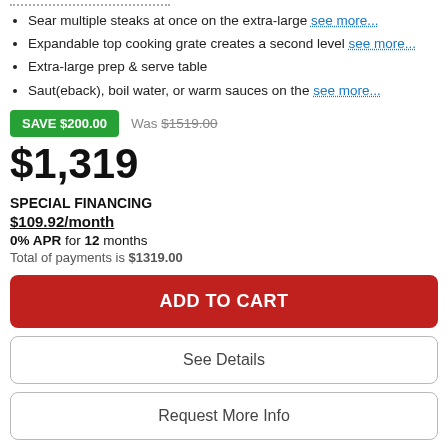Sear multiple steaks at once on the extra-large see more...
Expandable top cooking grate creates a second level see more...
Extra-large prep & serve table
Saut(eback), boil water, or warm sauces on the see more...
SAVE $200.00   Was $1519.00
$1,319
SPECIAL FINANCING
$109.92/month
0% APR for 12 months
Total of payments is $1319.00
ADD TO CART
See Details
Request More Info